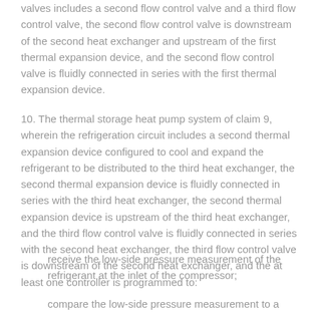valves includes a second flow control valve and a third flow control valve, the second flow control valve is downstream of the second heat exchanger and upstream of the first thermal expansion device, and the second flow control valve is fluidly connected in series with the first thermal expansion device.
10. The thermal storage heat pump system of claim 9, wherein the refrigeration circuit includes a second thermal expansion device configured to cool and expand the refrigerant to be distributed to the third heat exchanger, the second thermal expansion device is fluidly connected in series with the third heat exchanger, the second thermal expansion device is upstream of the third heat exchanger, and the third flow control valve is fluidly connected in series with the second heat exchanger, the third flow control valve is downstream of the second heat exchanger, and the at least one controller is programmed to:
receive the low-side pressure measurement of the refrigerant at the inlet of the compressor;
compare the low-side pressure measurement to a